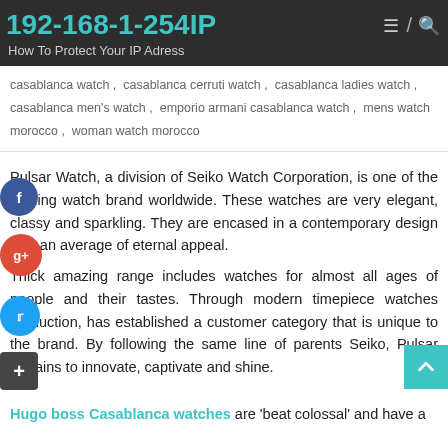192-168-1-254IP
How To Protect Your IP Adress
casablanca watch, casablanca cerruti watch, casablanca ladies watch, casablanca men's watch, emporio armani casablanca watch, mens watch morocco, woman watch morocco
Pulsar Watch, a division of Seiko Watch Corporation, is one of the leading watch brand worldwide. These watches are very elegant, classy and sparkling. They are encased in a contemporary design with an average of eternal appeal.
Thick amazing range includes watches for almost all ages of people and their tastes. Through modern timepiece watches production, has established a customer category that is unique to the brand. By following the same line of parents Seiko, Pulsar remains to innovate, captivate and shine.
Hugo boss Casablanca watches are 'beat colossal' and have a